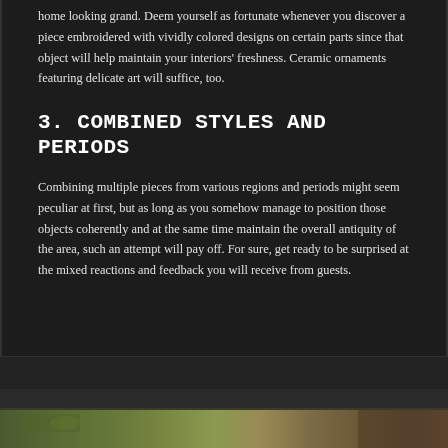home looking grand. Deem yourself as fortunate whenever you discover a piece embroidered with vividly colored designs on certain parts since that object will help maintain your interiors' freshness. Ceramic ornaments featuring delicate art will suffice, too.
3. COMBINED STYLES AND PERIODS
Combining multiple pieces from various regions and periods might seem peculiar at first, but as long as you somehow manage to position those objects coherently and at the same time maintain the overall antiquity of the area, such an attempt will pay off. For sure, get ready to be surprised at the mixed reactions and feedback you will receive from guests.
[Figure (photo): Partial view of a decorative interior photo at the bottom of the page, showing greenery and warm-toned decor elements.]